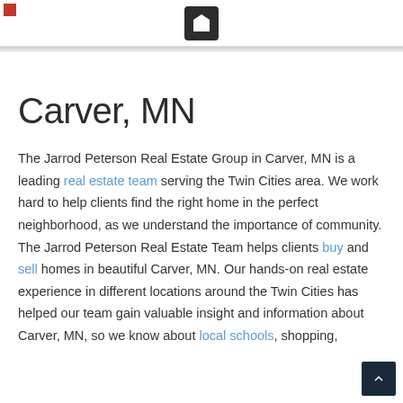Carver, MN
The Jarrod Peterson Real Estate Group in Carver, MN is a leading real estate team serving the Twin Cities area. We work hard to help clients find the right home in the perfect neighborhood, as we understand the importance of community. The Jarrod Peterson Real Estate Team helps clients buy and sell homes in beautiful Carver, MN. Our hands-on real estate experience in different locations around the Twin Cities has helped our team gain valuable insight and information about Carver, MN, so we know about local schools, shopping,